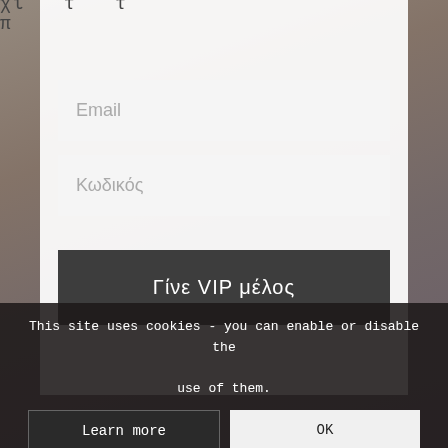χι τ τ ... π
Email
Κωδικός
Γίνε VIP μέλος
This site uses cookies - you can enable or disable the use of them.
Learn more
OK
GA © Copyright 2021. Mood Wolfs. All ... Terms